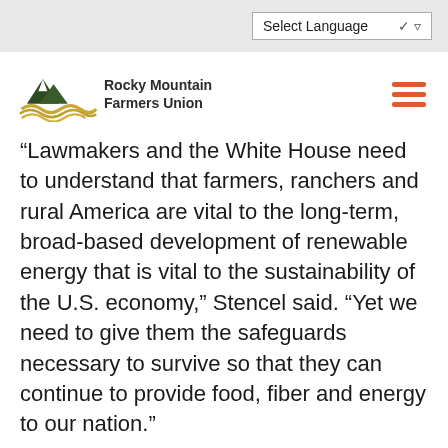Select Language
[Figure (logo): Rocky Mountain Farmers Union logo with mountain and wheat field graphic]
“Lawmakers and the White House need to understand that farmers, ranchers and rural America are vital to the long-term, broad-based development of renewable energy that is vital to the sustainability of the U.S. economy,” Stencel said. “Yet we need to give them the safeguards necessary to survive so that they can continue to provide food, fiber and energy to our nation.”